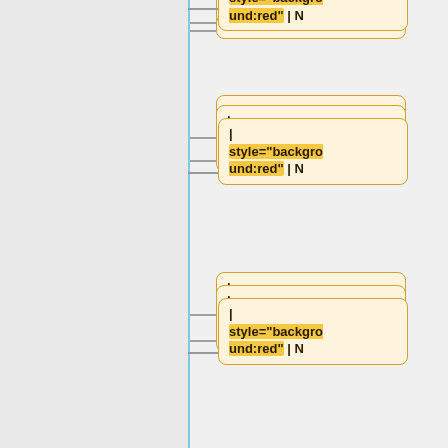[Figure (flowchart): A vertical tree/flowchart showing a series of connected nodes. Each node is a rounded rectangle with cream/yellow background containing wiki-style table markup code. A vertical blue line forms the trunk with horizontal connectors leading to each node box. Node contents from top to bottom: '| style="background:red" | N', '| style="background:red" | N', '| style="background:red" | N', '| style="background:lime" | Y', '| style="background:yellow" | Dev', '| style="background:red" | N', '|']